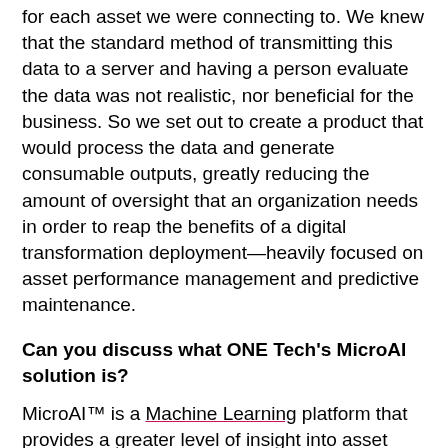for each asset we were connecting to. We knew that the standard method of transmitting this data to a server and having a person evaluate the data was not realistic, nor beneficial for the business. So we set out to create a product that would process the data and generate consumable outputs, greatly reducing the amount of oversight that an organization needs in order to reap the benefits of a digital transformation deployment—heavily focused on asset performance management and predictive maintenance.
Can you discuss what ONE Tech's MicroAI solution is?
MicroAI™ is a Machine Learning platform that provides a greater level of insight into asset (device or machine) performance, utilization and overall behavior. This benefit ranges from manufacturing plant managers who are looking for ways to improve overall equipment